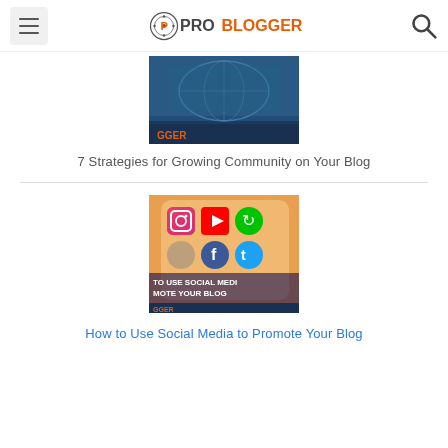ProBlogger
[Figure (screenshot): Thumbnail image for blog post about growing community on your blog, showing a dark blue graphic with earth/globe imagery]
7 Strategies for Growing Community on Your Blog
[Figure (screenshot): Thumbnail image showing a smartphone with social media app icons (Instagram, YouTube, Twitter, Facebook) with text overlay 'TO USE SOCIAL MEDIA TO PROMOTE YOUR BLOG']
How to Use Social Media to Promote Your Blog